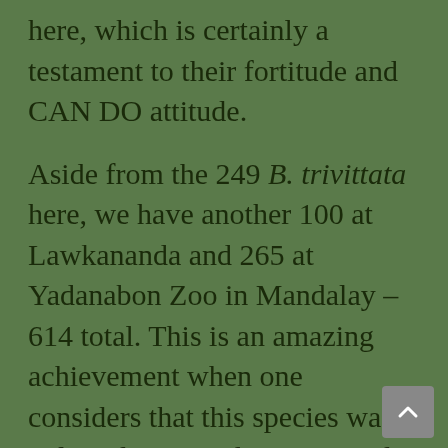here, which is certainly a testament to their fortitude and CAN DO attitude.
Aside from the 249 B. trivittata here, we have another 100 at Lawkananda and 265 at Yadanabon Zoo in Mandalay – 614 total. This is an amazing achievement when one considers that this species was only rediscovered in 2001 and our captive population started with just three specimens rescued from a temple pond. This rapid population growth was fueled by an aggressive nest beach protection / egg incubation / headstarting program that was, without question, started in the